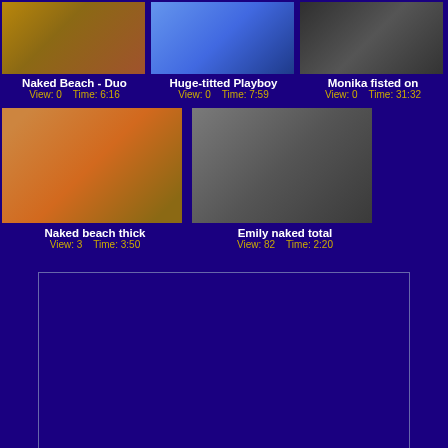[Figure (screenshot): Video thumbnail for Naked Beach - Duo]
Naked Beach - Duo
View: 0   Time: 6:16
[Figure (screenshot): Video thumbnail for Huge-titted Playboy]
Huge-titted Playboy
View: 0   Time: 7:59
[Figure (screenshot): Video thumbnail for Monika fisted on]
Monika fisted on
View: 0   Time: 31:32
[Figure (screenshot): Video thumbnail for Naked beach thick]
Naked beach thick
View: 3   Time: 3:50
[Figure (screenshot): Video thumbnail for Emily naked total]
Emily naked total
View: 82   Time: 2:20
[Figure (screenshot): Advertisement box, dark blue background with border]